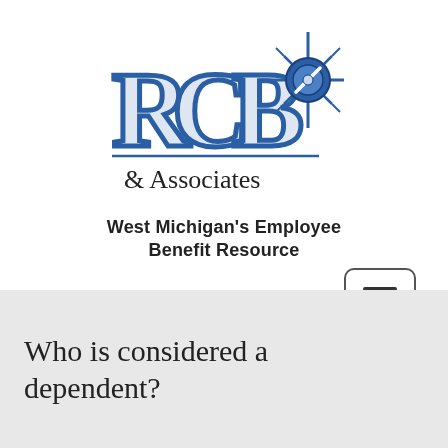[Figure (logo): RCB & Associates logo with compass star icon in blue, text 'RCB & Associates' and tagline 'West Michigan's Employee Benefit Resource']
[Figure (screenshot): Hamburger menu button (three horizontal lines) inside a rounded rectangle border]
Who is considered a dependent?